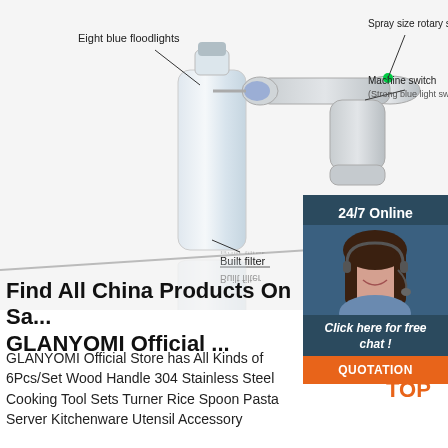[Figure (photo): Product diagram of a handheld spray/fog machine (disinfectant gun) with labeled parts: Eight blue floodlights, Spray size rotary switch, Machine switch (Strong blue light switch), Built filter. Below is a reflected/mirrored duplicate of the image.]
[Figure (illustration): 24/7 Online chat widget with photo of a woman with headset, 'Click here for free chat!' text, and orange QUOTATION button.]
Find All China Products On Sa... GLANYOMI Official ...
GLANYOMI Official Store has All Kinds of 6Pcs/Set Wood Handle 304 Stainless Steel Cooking Tool Sets Turner Rice Spoon Pasta Server Kitchenware Utensil Accessory
[Figure (logo): TOP logo with orange triangle/pyramid icon and orange text 'TOP']